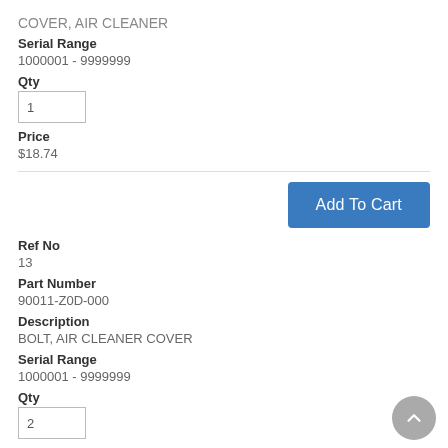COVER, AIR CLEANER
Serial Range
1000001 - 9999999
Qty
1
Price
$18.74
Ref No
13
Part Number
90011-Z0D-000
Description
BOLT, AIR CLEANER COVER
Serial Range
1000001 - 9999999
Qty
2